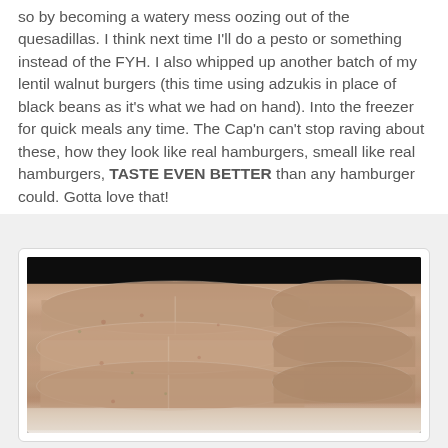so by becoming a watery mess oozing out of the quesadillas. I think next time I'll do a pesto or something instead of the FYH. I also whipped up another batch of my lentil walnut burgers (this time using adzukis in place of black beans as it's what we had on hand). Into the freezer for quick meals any time. The Cap'n can't stop raving about these, how they look like real hamburgers, smeall like real hamburgers, TASTE EVEN BETTER than any hamburger could. Gotta love that!
[Figure (photo): Photo of multiple plastic bags filled with lentil walnut burger patties stacked on top of each other, photographed against a dark background, showing the texture and color of the uncooked burger mixture inside the bags.]